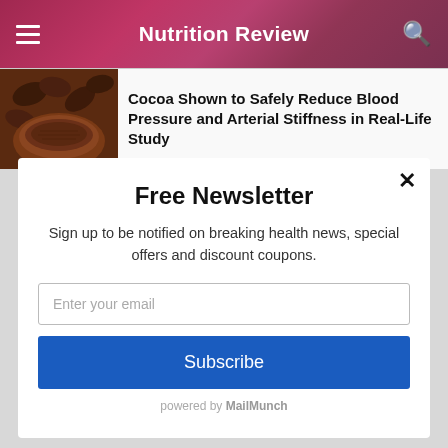Nutrition Review
Cocoa Shown to Safely Reduce Blood Pressure and Arterial Stiffness in Real-Life Study
[Figure (photo): Photo of cocoa beans and cocoa powder in wooden bowls]
Free Newsletter
Sign up to be notified on breaking health news, special offers and discount coupons.
Enter your email
Subscribe
powered by MailMunch